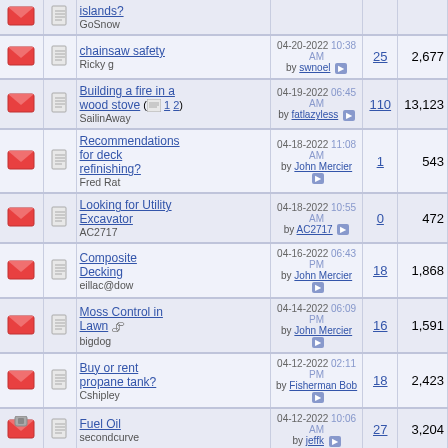|  |  | Topic | Last Post | Replies | Views |
| --- | --- | --- | --- | --- | --- |
| [envelope] | [page] | islands?
GoSnow |  |  |  |
| [envelope] | [page] | chainsaw safety
Ricky g | 04-20-2022 10:38 AM by swnoel | 25 | 2,677 |
| [envelope] | [page] | Building a fire in a wood stove (1 2)
SailinAway | 04-19-2022 06:45 AM by fatlazyless | 110 | 13,123 |
| [envelope] | [page] | Recommendations for deck refinishing?
Fred Rat | 04-18-2022 11:08 AM by John Mercier | 1 | 543 |
| [envelope] | [page] | Looking for Utility Excavator
AC2717 | 04-18-2022 10:55 AM by AC2717 | 0 | 472 |
| [envelope] | [page] | Composite Decking
eillac@dow | 04-16-2022 06:43 PM by John Mercier | 18 | 1,868 |
| [envelope] | [page] | Moss Control in Lawn
bigdog | 04-14-2022 06:09 PM by John Mercier | 16 | 1,591 |
| [envelope] | [page] | Buy or rent propane tank?
Cshipley | 04-12-2022 02:11 PM by Fisherman Bob | 18 | 2,423 |
| [envelope-locked] | [page] | Fuel Oil
secondcurve | 04-12-2022 10:06 AM by jeffk | 27 | 3,204 |